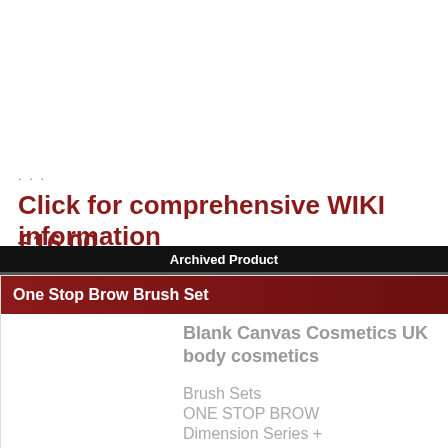...
Click for comprehensive WIKI information
£16.00
Archived Product
One Stop Brow Brush Set
Blank Canvas Cosmetics UK body cosmetics
Brush Sets
ONE STOP BROW
Dimension Series +